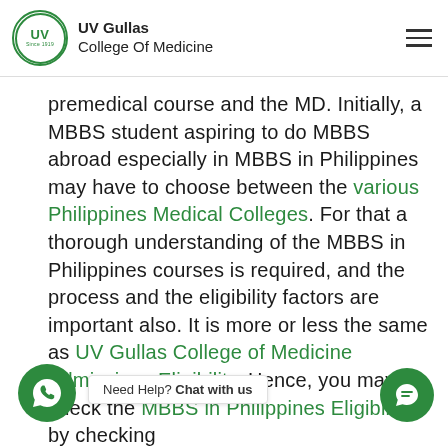UV Gullas College Of Medicine
premedical course and the MD. Initially, a MBBS student aspiring to do MBBS abroad especially in MBBS in Philippines may have to choose between the various Philippines Medical Colleges. For that a thorough understanding of the MBBS in Philippines courses is required, and the process and the eligibility factors are important also. It is more or less the same as UV Gullas College of Medicine Admissions Eligibility. Hence, you may check the MBBS in Philippines Eligibility by checking